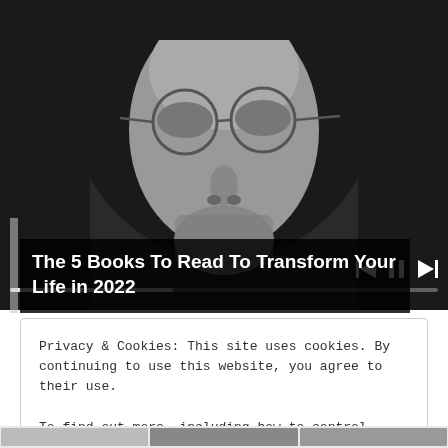[Figure (screenshot): Black and white photo of a young man with round glasses and long hair, shown from nose up. Video player controls visible at bottom right including skip-back, pause, and skip-forward buttons. A progress bar runs across the bottom of the video.]
The 5 Books To Read To Transform Your Life in 2022
Privacy & Cookies: This site uses cookies. By continuing to use this website, you agree to their use.
To find out more, including how to control cookies, see here: Cookie Policy
Close and accept
[Figure (photo): Partial view of thumbnail images at the bottom of the page, showing parts of book-related images]